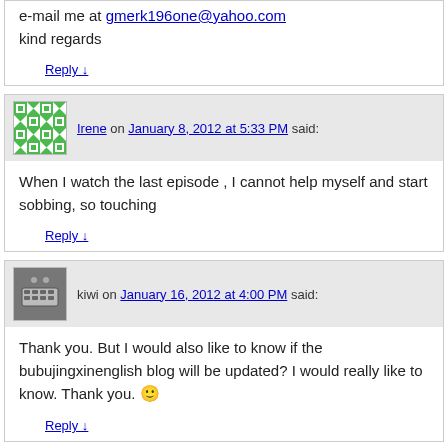e-mail me at gmerk196one@yahoo.com
kind regards
Reply ↓
Irene on January 8, 2012 at 5:33 PM said:
When I watch the last episode , I cannot help myself and start sobbing, so touching
Reply ↓
kiwi on January 16, 2012 at 4:00 PM said:
Thank you. But I would also like to know if the bubujingxinenglish blog will be updated? I would really like to know. Thank you. 🙂
Reply ↓
SP on January 26, 2012 at 2:39 PM said:
Koala, thank you…thank you for the epilogue translation….I